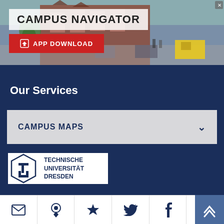[Figure (photo): Campus photo showing brick university building with trees and vehicles on street, with CAMPUS NAVIGATOR title overlay and APP DOWNLOAD red button]
CAMPUS NAVIGATOR
APP DOWNLOAD
Our Services
CAMPUS MAPS
[Figure (logo): Technische Universität Dresden logo with TU hexagonal emblem and text TECHNISCHE UNIVERSITÄT DRESDEN]
TECHNISCHE UNIVERSITÄT DRESDEN